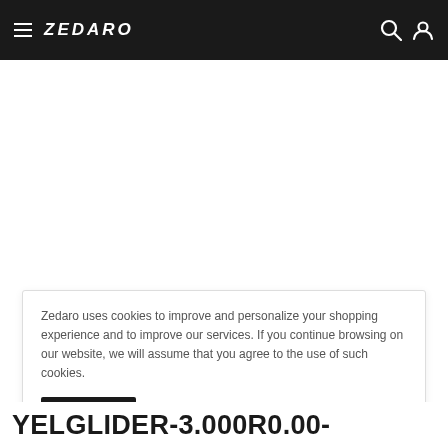ZEDARO
Zedaro uses cookies to improve and personalize your shopping experience and to improve our services. If you continue browsing on our website, we will assume that you agree to the use of such cookies.
Accept
YELGLIDER-3.000R0.00-